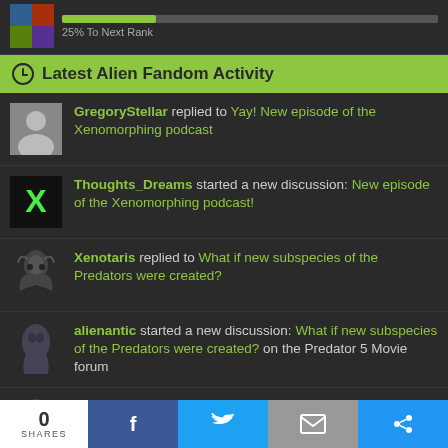[Figure (screenshot): Top bar with user avatar thumbnail, progress bar, and '25% To Next Rank' text]
Latest Alien Fandom Activity
GregoryStellar replied to Yay! New episode of the Xenomorphing podcast
Thoughts_Dreams started a new discussion: New episode of the Xenomorphing podcast!
Xenotaris replied to What if new subspecies of the Predators were created?
alienantic started a new discussion: What if new subspecies of the Predators were created? on the Predator 5 Movie forum
Xenotaris commented on New Aliens: Fireteam Elite expansion introduces Pathogen Alien Queen boss fights! from the Alien: Covenant website!
Xenotaris commented on New Aliens: Fireteam Elite expansion introduces Pathogen Alien Queen boss fights! from the Alien: Covenant website!
0 SHARES  [Facebook] [Twitter] [Email] [Share]